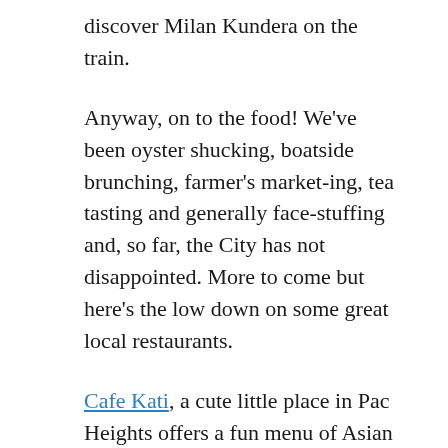discover Milan Kundera on the train.
Anyway, on to the food! We've been oyster shucking, boatside brunching, farmer's market-ing, tea tasting and generally face-stuffing and, so far, the City has not disappointed. More to come but here's the low down on some great local restaurants.
Cafe Kati, a cute little place in Pac Heights offers a fun menu of Asian Fusion delights ranging from old classics like chicken lettuce cups to creative hits like peanut crusted prawns with green papaya, mint and fresh basil. The ambience is small, cosy and intimate. It feels a little like a quaint old bookstore. Service is